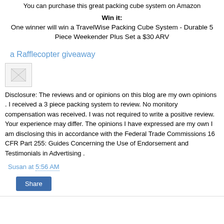You can purchase this great packing cube system on Amazon
Win it:
One winner will win a TravelWise Packing Cube System - Durable 5 Piece Weekender Plus Set a $30 ARV
a Rafflecopter giveaway
[Figure (illustration): Small broken/placeholder image icon]
Disclosure: The reviews and or opinions on this blog are my own opinions . I received a 3 piece packing system to review. No monitory compensation was received. I was not required to write a positive review. Your experience may differ. The opinions I have expressed are my own I am disclosing this in accordance with the Federal Trade Commissions 16 CFR Part 255: Guides Concerning the Use of Endorsement and Testimonials in Advertising .
Susan at 5:56 AM
Share